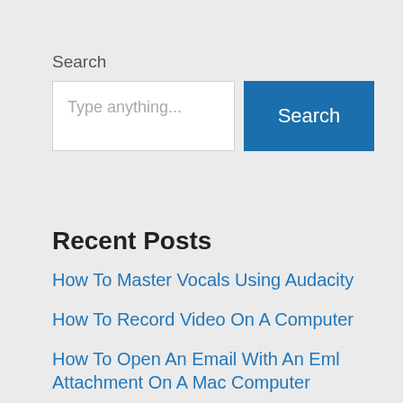Search
[Figure (screenshot): Search widget with text input box showing placeholder 'Type anything...' and a blue Search button]
Recent Posts
How To Master Vocals Using Audacity
How To Record Video On A Computer
How To Open An Email With An Eml Attachment On A Mac Computer
How To Make Your Own Folder Icons For